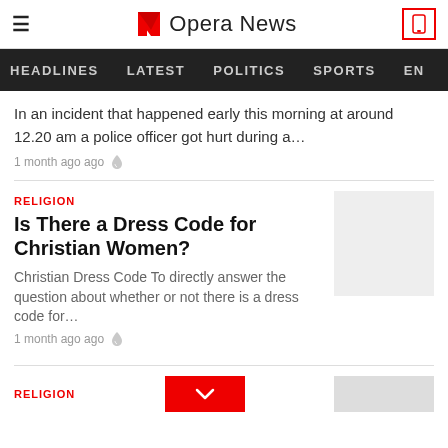Opera News
HEADLINES   LATEST   POLITICS   SPORTS   EN
In an incident that happened early this morning at around 12.20 am a police officer got hurt during a…
1 month ago ago
RELIGION
Is There a Dress Code for Christian Women?
Christian Dress Code To directly answer the question about whether or not there is a dress code for…
1 month ago ago
RELIGION